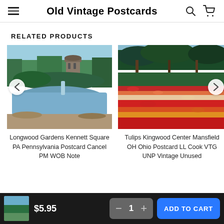Old Vintage Postcards
RELATED PRODUCTS
[Figure (photo): Longwood Gardens Kennett Square PA Pennsylvania postcard image showing a stone tower, pond with waterfall, and trees]
Longwood Gardens Kennett Square PA Pennsylvania Postcard Cancel PM WOB Note
[Figure (photo): Tulips Kingwood Center Mansfield OH Ohio postcard image showing colorful tulip fields in bloom with trees in background]
Tulips Kingwood Center Mansfield OH Ohio Postcard LL Cook VTG UNP Vintage Unused
$5.95  1  ADD TO CART